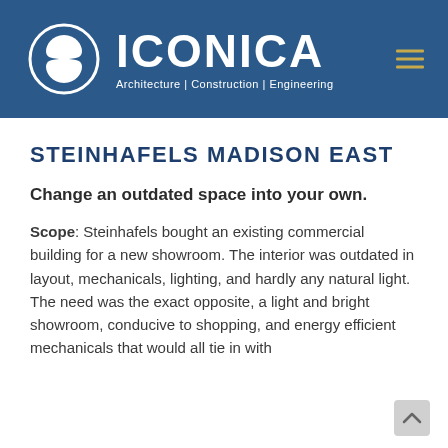[Figure (logo): Iconica logo with circular icon and text 'ICONICA Architecture | Construction | Engineering' on blue header background]
STEINHAFELS MADISON EAST
Change an outdated space into your own.
Scope: Steinhafels bought an existing commercial building for a new showroom. The interior was outdated in layout, mechanicals, lighting, and hardly any natural light. The need was the exact opposite, a light and bright showroom, conducive to shopping, and energy efficient mechanicals that would all tie in with